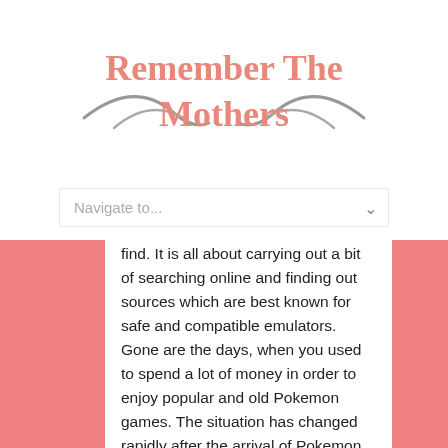Remember The Mothers
Navigate to...
find. It is all about carrying out a bit of searching online and finding out sources which are best known for safe and compatible emulators. Gone are the days, when you used to spend a lot of money in order to enjoy popular and old Pokemon games. The situation has changed rapidly after the arrival of Pokemon emulator. With just a few clicks, you would be able to download the emulator on your device and enjoy the games with ease. It would be ideal